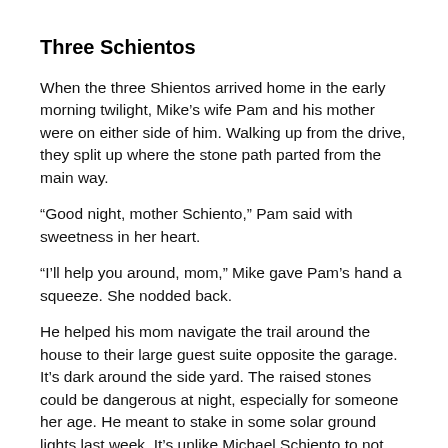Three Schientos
When the three Shientos arrived home in the early morning twilight, Mike’s wife Pam and his mother were on either side of him. Walking up from the drive, they split up where the stone path parted from the main way.
“Good night, mother Schiento,” Pam said with sweetness in her heart.
“I’ll help you around, mom,” Mike gave Pam’s hand a squeeze. She nodded back.
He helped his mom navigate the trail around the house to their large guest suite opposite the garage. It’s dark around the side yard. The raised stones could be dangerous at night, especially for someone her age. He meant to stake in some solar ground lights last week. It’s unlike Michael Schiento to not follow through on something like that.
“Mother, the sun is coming up soon. It was a long night. You were strong and wise. Just go to bed now. I’ll look in